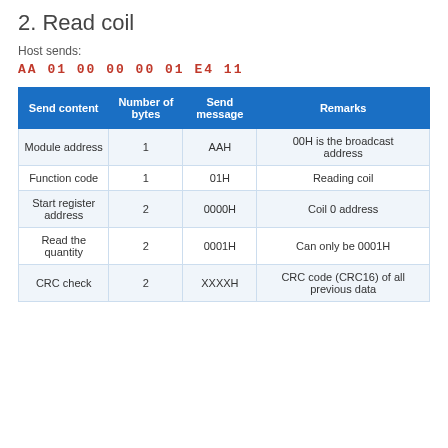2. Read coil
Host sends:
AA 01 00 00 00 01 E4 11
| Send content | Number of bytes | Send message | Remarks |
| --- | --- | --- | --- |
| Module address | 1 | AAH | 00H is the broadcast address |
| Function code | 1 | 01H | Reading coil |
| Start register address | 2 | 0000H | Coil 0 address |
| Read the quantity | 2 | 0001H | Can only be 0001H |
| CRC check | 2 | XXXXH | CRC code (CRC16) of all previous data |